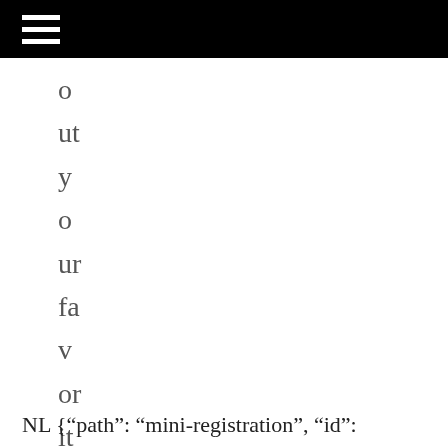≡
o
ut
y
o
ur
fa
v
or
it
e
cl
u
b.
NL {“path”: “mini-registration”, “id”: